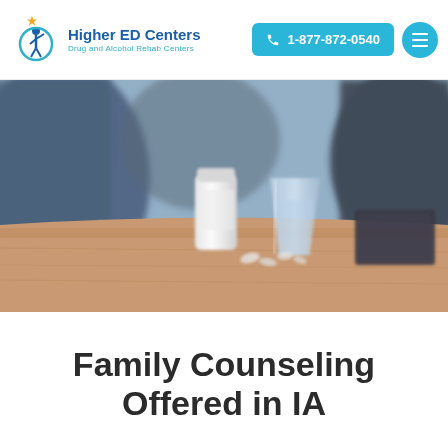Higher ED Centers Drug and Alcohol Rehab Centers | 1-877-872-0540
[Figure (photo): Close-up blurred photo of a wooden table with a white pill bottle, a glass of water, and scattered pills, with two people sitting in chairs in the background wearing jeans]
Family Counseling Offered in IA